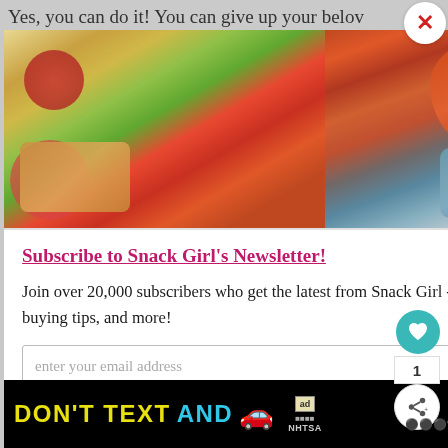Yes, you can do it! You can give up your belov…
[Figure (photo): Three food photos side by side: waffles with strawberries and blueberries on green plate, chili in orange pot with bowl, stuffed red peppers on green plate]
Subscribe to Snack Girl's Newsletter!
Join over 20,000 subscribers who get the latest from Snack Girl - healthy & EASY recipes, supportive weight loss advice, packaged food buying tips, and more!
enter your email address
[Figure (screenshot): Ad banner: DON'T TEXT AND [car emoji] with ad badge and NHTSA logo on black background]